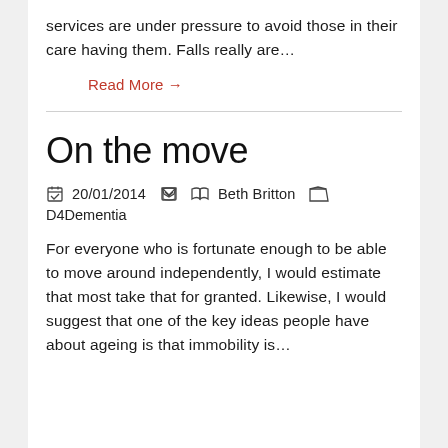services are under pressure to avoid those in their care having them. Falls really are…
Read More →
On the move
20/01/2014   Beth Britton   D4Dementia
For everyone who is fortunate enough to be able to move around independently, I would estimate that most take that for granted. Likewise, I would suggest that one of the key ideas people have about ageing is that immobility is…